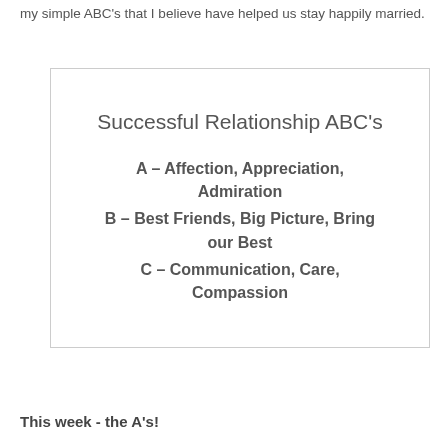my simple ABC's that I believe have helped us stay happily married.
[Figure (infographic): Box with title 'Successful Relationship ABC’s' and three bullet items: A – Affection, Appreciation, Admiration; B – Best Friends, Big Picture, Bring our Best; C – Communication, Care, Compassion]
This week - the A's!